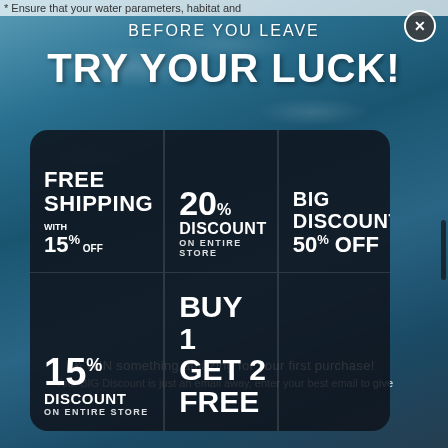* Ensure that your water parameters, habitat and
BEFORE YOU LEAVE
TRY YOUR LUCK!
[Figure (infographic): Dark rounded card with 5 promotional offers in a grid: FREE SHIPPING WITH 15% OFF, 20% DISCOUNT ON ENTIRE STORE, BIG DISCOUNT 50% OFF, 15% DISCOUNT ON ENTIRE STORE, BUY 1 GET 2 FREE]
& WIN something amazing for your first purchase!
Your BIG Discount is just an email away, enter your best email to give